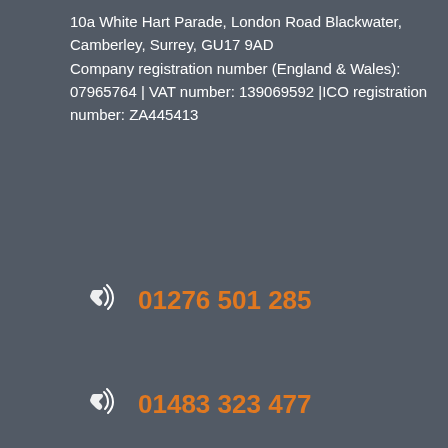10a White Hart Parade, London Road Blackwater, Camberley, Surrey, GU17 9AD
Company registration number (England & Wales): 07965764 | VAT number: 139069592 | ICO registration number: ZA445413
01276 501 285
01483 323 477
Web design Guildford
Our site uses cookies, including for advertising personalisation. For more information, see our cookie policy.
Accept cookies and close
Reject cookies
Manage settings